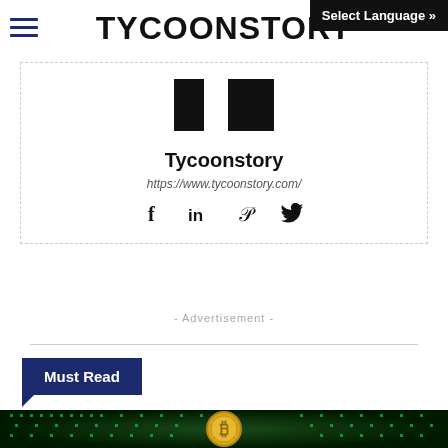TYCOONSTORY | Select Language »
[Figure (illustration): Tycoonstory logo with black blocks forming a T shape]
Tycoonstory
https://www.tycoonstory.com/
[Figure (illustration): Social media icons: Facebook, LinkedIn, Pinterest, Twitter]
- Advertisement -
Must Read
[Figure (photo): Bitcoin gold coin on green digital circuit background]